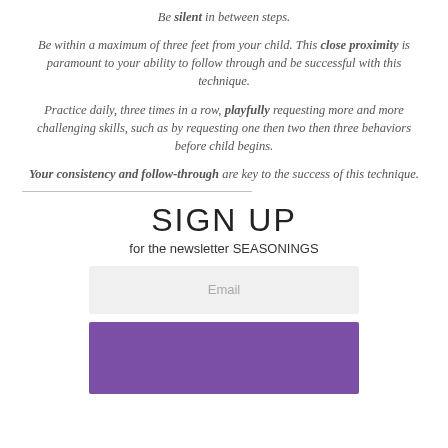Be silent in between steps.
Be within a maximum of three feet from your child. This close proximity is paramount to your ability to follow through and be successful with this technique.
Practice daily, three times in a row, playfully requesting more and more challenging skills, such as by requesting one then two then three behaviors before child begins.
Your consistency and follow-through are key to the success of this technique.
SIGN UP
for the newsletter SEASONINGS
Email